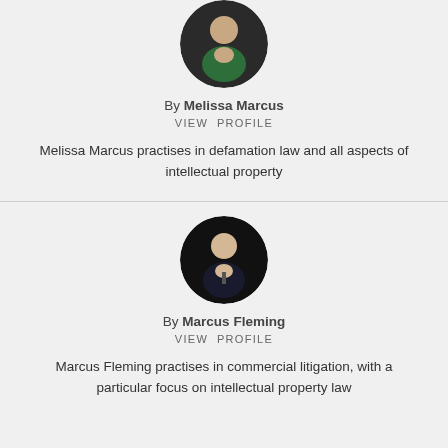[Figure (photo): Circular profile photo of Melissa Marcus, a woman in a green blazer against a dark background]
By Melissa Marcus
VIEW PROFILE
Melissa Marcus practises in defamation law and all aspects of intellectual property
[Figure (photo): Circular profile photo of Marcus Fleming, a man in a dark suit and tie against a black background]
By Marcus Fleming
VIEW PROFILE
Marcus Fleming practises in commercial litigation, with a particular focus on intellectual property law